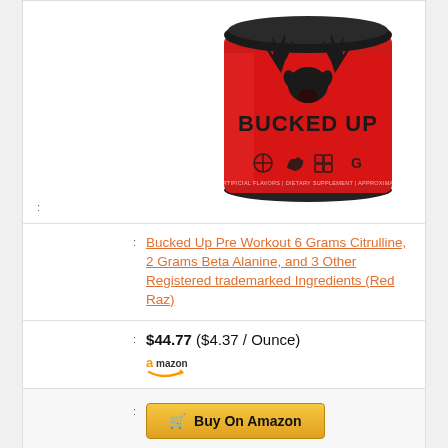[Figure (photo): Bucked Up Pre Workout supplement container, red cylindrical tub with black lid, deer antler logo, text BUCKED UP, various icons at bottom]
:
: Bucked Up Pre Workout 6 Grams Citrulline, 2 Grams Beta Alanine, and 3 Other Registered trademarked Ingredients (Red Raz)
: $44.77 ($4.37 / Ounce)
: Buy On Amazon